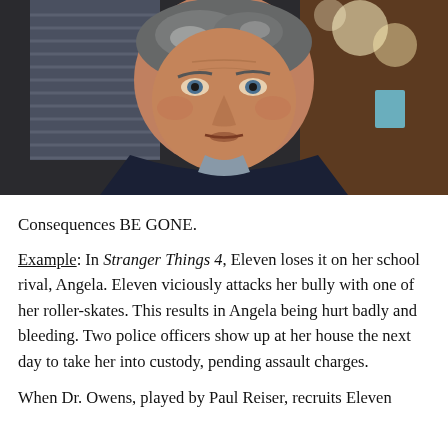[Figure (photo): A middle-aged man with grey hair in a dark jacket leaning forward, looking intensely at the camera. Background is blurred with light orbs and wooden blinds visible.]
Consequences BE GONE.
Example: In Stranger Things 4, Eleven loses it on her school rival, Angela. Eleven viciously attacks her bully with one of her roller-skates. This results in Angela being hurt badly and bleeding. Two police officers show up at her house the next day to take her into custody, pending assault charges.
When Dr. Owens, played by Paul Reiser, recruits Eleven